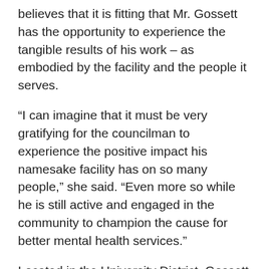believes that it is fitting that Mr. Gossett has the opportunity to experience the tangible results of his work – as embodied by the facility and the people it serves.
“I can imagine that it must be very gratifying for the councilman to experience the positive impact his namesake facility has on so many people,” she said. “Even more so while he is still active and engaged in the community to champion the cause for better mental health services.”
Located in the University District, Gossett Place is a supportive housing facility that holds up to 63 individuals and is designed to provide housing and behavioral health services directly to residents, all of whom have been homeless.
[bs_well size="lg"]
About Sound Mental Health